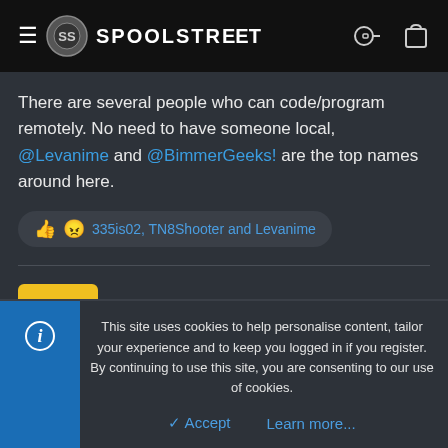SPOOLSTREET
There are several people who can code/program remotely. No need to have someone local, @Levanime and @BimmerGeeks! are the top names around here.
335is02, TN8Shooter and Levanime
Sammybtt(TN)
New Member
Jan 12, 2018
This site uses cookies to help personalise content, tailor your experience and to keep you logged in if you register.
By continuing to use this site, you are consenting to our use of cookies.
Accept
Learn more...